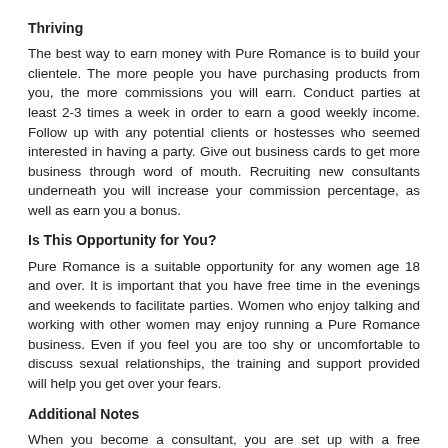Thriving
The best way to earn money with Pure Romance is to build your clientele. The more people you have purchasing products from you, the more commissions you will earn. Conduct parties at least 2-3 times a week in order to earn a good weekly income. Follow up with any potential clients or hostesses who seemed interested in having a party. Give out business cards to get more business through word of mouth. Recruiting new consultants underneath you will increase your commission percentage, as well as earn you a bonus.
Is This Opportunity for You?
Pure Romance is a suitable opportunity for any women age 18 and over. It is important that you have free time in the evenings and weekends to facilitate parties. Women who enjoy talking and working with other women may enjoy running a Pure Romance business. Even if you feel you are too shy or uncomfortable to discuss sexual relationships, the training and support provided will help you get over your fears.
Additional Notes
When you become a consultant, you are set up with a free website. This will allow you to sell your products to your clients over the Internet. Online orders will only earn you up to 40% in commissions. Once you have a large customer base, you may choose to discontinue doing parties and just sell to those you already know. Also, the company is affiliated with numerous organizations and enjoys giving back to the community.